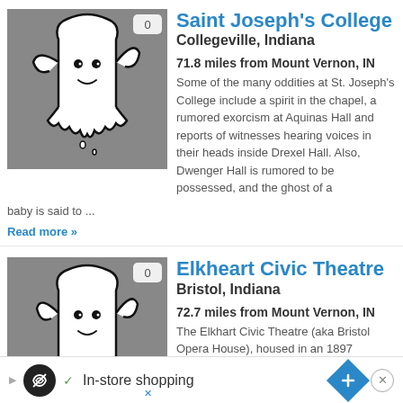[Figure (illustration): Ghost illustration on grey background with badge showing '0']
Saint Joseph's College
Collegeville, Indiana
71.8 miles from Mount Vernon, IN
Some of the many oddities at St. Joseph's College include a spirit in the chapel, a rumored exorcism at Aquinas Hall and reports of witnesses hearing voices in their heads inside Drexel Hall. Also, Dwenger Hall is rumored to be possessed, and the ghost of a baby is said to ...
Read more »
[Figure (illustration): Ghost illustration on grey background with badge showing '0']
Elkheart Civic Theatre
Bristol, Indiana
72.7 miles from Mount Vernon, IN
The Elkhart Civic Theatre (aka Bristol Opera House), housed in an 1897 building, is said to
✓ In-store shopping